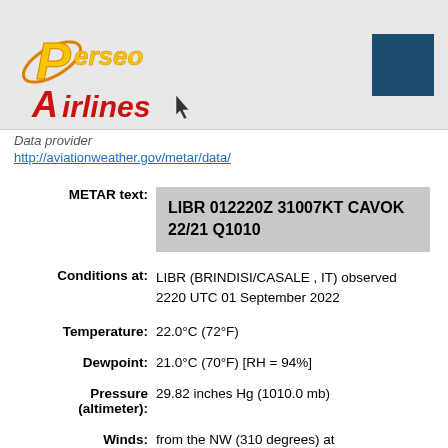[Figure (logo): Perseo Airlines logo with stylized yellow/orange P and red Airlines text]
Data provider
http://aviationweather.gov/metar/data/
| METAR text: | LIBR 012220Z 31007KT CAVOK 22/21 Q1010 |
| Conditions at: | LIBR (BRINDISI/CASALE , IT) observed 2220 UTC 01 September 2022 |
| Temperature: | 22.0°C (72°F) |
| Dewpoint: | 21.0°C (70°F) [RH = 94%] |
| Pressure (altimeter): | 29.82 inches Hg (1010.0 mb) |
| Winds: | from the NW (310 degrees) at |